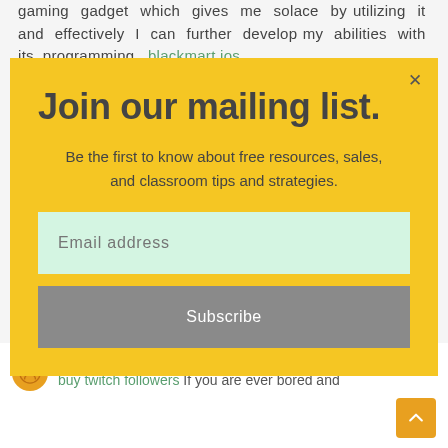gaming gadget which gives me solace by utilizing it and effectively I can further develop my abilities with its programming. blackmart ios
[Figure (screenshot): Email newsletter subscription modal popup with yellow background, containing title 'Join our mailing list.', subtitle text, email input field, and Subscribe button with close X button]
jazba January 18, 2022 at 10:00 AM
buy twitch followers If you are ever bored and